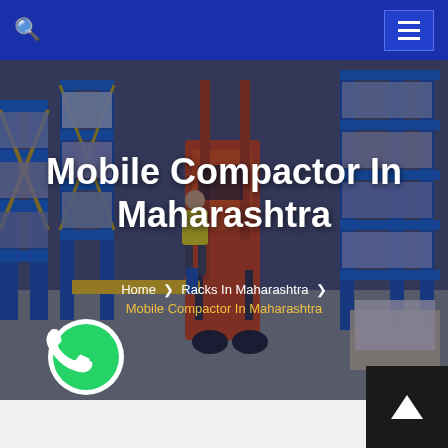Mobile Compactor In Maharashtra - Navigation header with search and menu
[Figure (photo): Warehouse interior with orange forklift/reach truck operating among blue metal storage racks filled with stacked goods. A worker in yellow vest is visible. Blue and yellow safety barriers on the floor.]
Mobile Compactor In Maharashtra
Home > Racks In Maharashtra > Mobile Compactor In Maharashtra